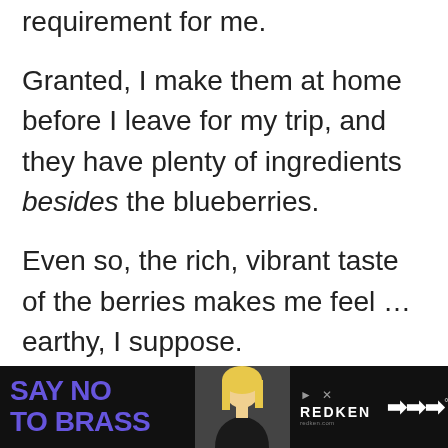requirement for me.
Granted, I make them at home before I leave for my trip, and they have plenty of ingredients besides the blueberries.
Even so, the rich, vibrant taste of the berries makes me feel … earthy, I suppose.
(And the decadent streusel topping with cinnamon doesn't hurt, either!)
[Figure (other): Advertisement banner: black background with purple 'SAY NO TO BRASS' text, woman with blonde hair, Redken logo, and navigation arrows]